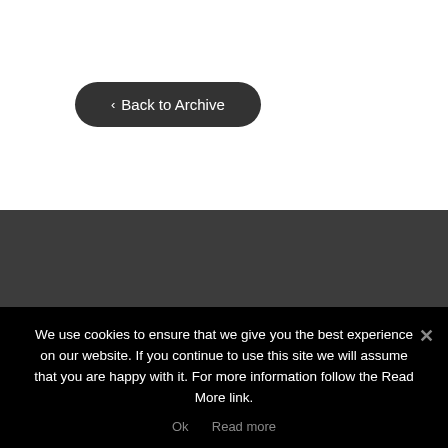‹ Back to Archive
About The Observatory International
[Figure (logo): Observatory International logo — partial golden arc with small star sparkles above it]
We use cookies to ensure that we give you the best experience on our website. If you continue to use this site we will assume that you are happy with it. For more information follow the Read More link.
Ok   Read more